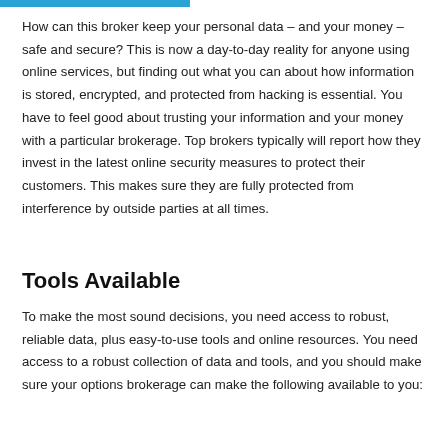How can this broker keep your personal data – and your money – safe and secure? This is now a day-to-day reality for anyone using online services, but finding out what you can about how information is stored, encrypted, and protected from hacking is essential. You have to feel good about trusting your information and your money with a particular brokerage. Top brokers typically will report how they invest in the latest online security measures to protect their customers. This makes sure they are fully protected from interference by outside parties at all times.
Tools Available
To make the most sound decisions, you need access to robust, reliable data, plus easy-to-use tools and online resources. You need access to a robust collection of data and tools, and you should make sure your options brokerage can make the following available to you: